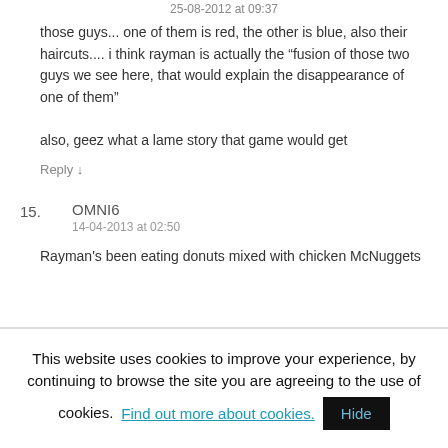25-08-2012 at 09:37
those guys... one of them is red, the other is blue, also their haircuts.... i think rayman is actually the "fusion of those two guys we see here, that would explain the disappearance of one of them"
also, geez what a lame story that game would get
Reply ↓
15.
OMNI6
14-04-2013 at 02:50
Rayman's been eating donuts mixed with chicken McNuggets
This website uses cookies to improve your experience, by continuing to browse the site you are agreeing to the use of cookies. Find out more about cookies. Hide